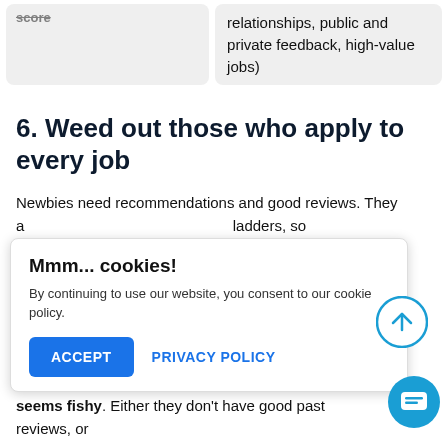| score | feedback (long-term relationships, public and private feedback, high-value jobs) |
| --- | --- |
|  |  |
6. Weed out those who apply to every job
Newbies need recommendations and good reviews. They are climbing the ladders, so they set strict work limits on their contract, don't apply to a job if posting isn't possible, they won't cost $0.15 per connect (0, 60, credits, seems fishy. Either they don't have good past reviews, or
Mmm... cookies!
By continuing to use our website, you consent to our cookie policy.
ACCEPT    PRIVACY POLICY